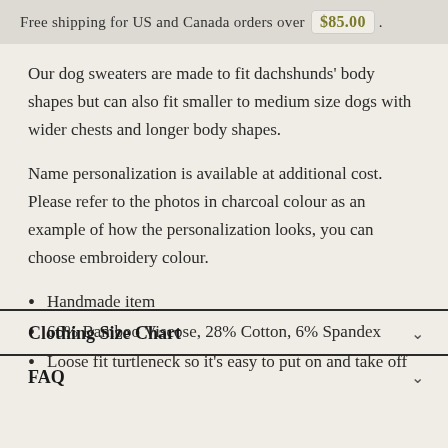Free shipping for US and Canada orders over $85.00 .
Our dog sweaters are made to fit dachshunds' body shapes but can also fit smaller to medium size dogs with wider chests and longer body shapes.
Name personalization is available at additional cost. Please refer to the photos in charcoal colour as an example of how the personalization looks, you can choose embroidery colour.
Handmade item
66% Bamboo Viscose, 28% Cotton, 6% Spandex
Loose fit turtleneck so it's easy to put on and take off
Clothing Size Chart
FAQ